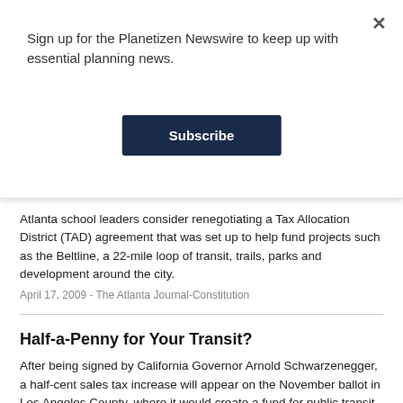Sign up for the Planetizen Newswire to keep up with essential planning news.
Subscribe
Atlanta school leaders consider renegotiating a Tax Allocation District (TAD) agreement that was set up to help fund projects such as the Beltline, a 22-mile loop of transit, trails, parks and development around the city.
April 17, 2009 - The Atlanta Journal-Constitution
Half-a-Penny for Your Transit?
After being signed by California Governor Arnold Schwarzenegger, a half-cent sales tax increase will appear on the November ballot in Los Angeles County, where it would create a fund for public transit projects.
September 26, 2008 - Los Angeles Times